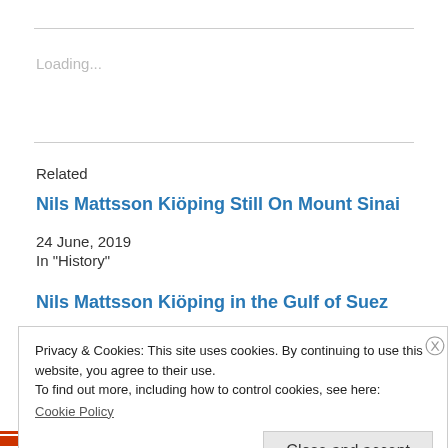Loading...
Related
Nils Mattsson Kiöping Still On Mount Sinai
24 June, 2019
In "History"
Nils Mattsson Kiöping in the Gulf of Suez
Privacy & Cookies: This site uses cookies. By continuing to use this website, you agree to their use.
To find out more, including how to control cookies, see here:
Cookie Policy
Close and accept